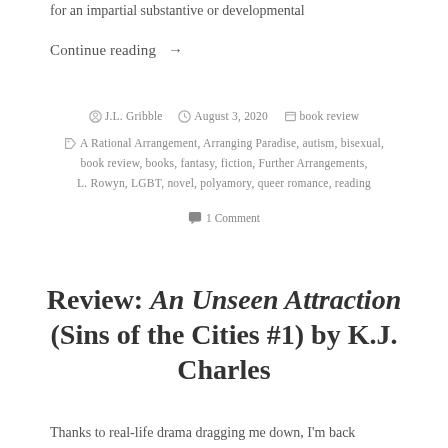for an impartial substantive or developmental
Continue reading →
J.L. Gribble   August 3, 2020   book review
A Rational Arrangement, Arranging Paradise, autism, bisexual, book review, books, fantasy, fiction, Further Arrangements, L. Rowyn, LGBT, novel, polyamory, queer romance, reading
1 Comment
Review: An Unseen Attraction (Sins of the Cities #1) by K.J. Charles
Thanks to real-life drama dragging me down, I'm back